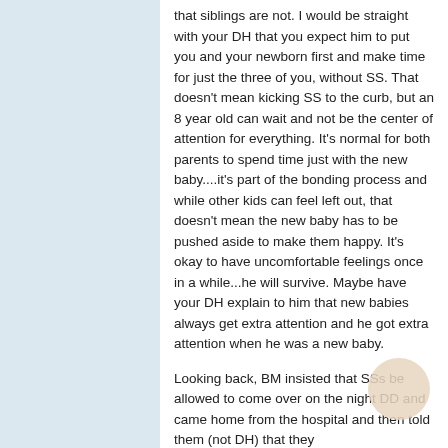that siblings are not. I would be straight with your DH that you expect him to put you and your newborn first and make time for just the three of you, without SS. That doesn't mean kicking SS to the curb, but an 8 year old can wait and not be the center of attention for everything. It's normal for both parents to spend time just with the new baby....it's part of the bonding process and while other kids can feel left out, that doesn't mean the new baby has to be pushed aside to make them happy. It's okay to have uncomfortable feelings once in a while...he will survive. Maybe have your DH explain to him that new babies always get extra attention and he got extra attention when he was a new baby.

Looking back, BM insisted that SSs be allowed to come over on the night DD and came home from the hospital and then told them (not DH) that they